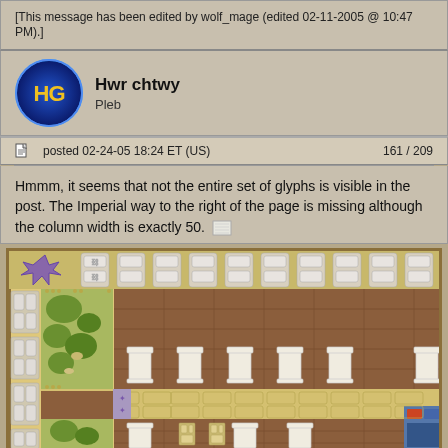[This message has been edited by wolf_mage (edited 02-11-2005 @ 10:47 PM).]
Hwr chtwy
Pleb
posted 02-24-05 18:24 ET (US)   161 / 209
Hmmm, it seems that not the entire set of glyphs is visible in the post. The Imperial way to the right of the page is missing although the column width is exactly 50.
[Figure (screenshot): Top-down tile-based game map showing rooms, corridors, furniture, and outdoor areas with brown wooden floors, stone paths, and decorative elements.]